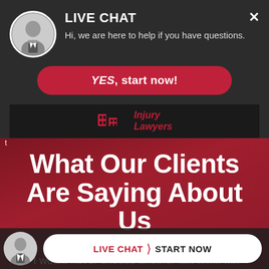[Figure (screenshot): Live chat popup overlay with lawyer avatar, 'LIVE CHAT' heading, subtext, and YES button]
LIVE CHAT
Hi, we are here to help if you have questions.
YES, start now!
[Figure (logo): Injury Lawyers logo with stylized building icon]
What Our Clients Are Saying About Us
"I would never choose another law firm!! Mr. Edward Capozzi and Valentina treated me like family. I was scared to go to court but when I did,
LIVE CHAT  START NOW